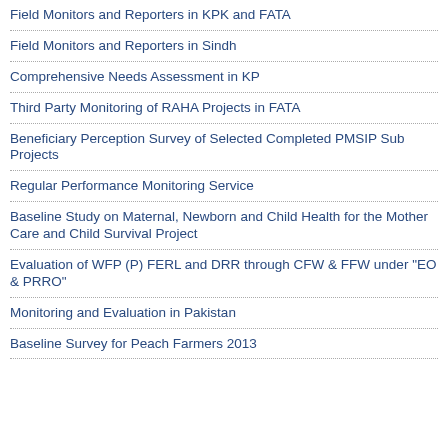Field Monitors and Reporters in KPK and FATA
Field Monitors and Reporters in Sindh
Comprehensive Needs Assessment in KP
Third Party Monitoring of RAHA Projects in FATA
Beneficiary Perception Survey of Selected Completed PMSIP Sub Projects
Regular Performance Monitoring Service
Baseline Study on Maternal, Newborn and Child Health for the Mother Care and Child Survival Project
Evaluation of WFP (P) FERL and DRR through CFW & FFW under "EO & PRRO"
Monitoring and Evaluation in Pakistan
Baseline Survey for Peach Farmers 2013